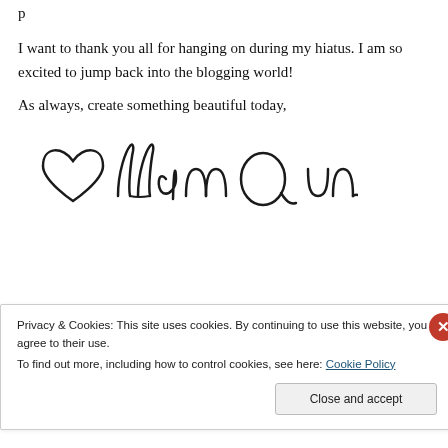I want to thank you all for hanging on during my hiatus. I am so excited to jump back into the blogging world!
As always, create something beautiful today,
[Figure (illustration): Handwritten cursive signature with decorative heart element]
Privacy & Cookies: This site uses cookies. By continuing to use this website, you agree to their use.
To find out more, including how to control cookies, see here: Cookie Policy
[Close and accept button]